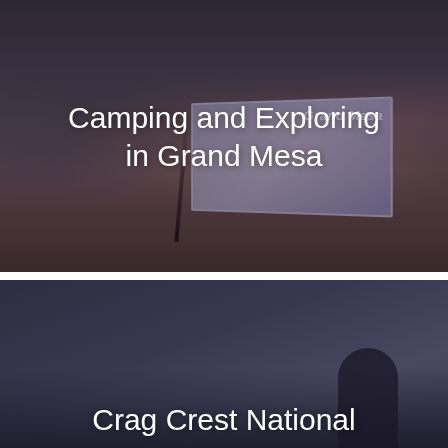[Figure (photo): Outdoor landscape photo with dark purplish-brown tones showing trees, a road, and an informational sign in the background with text 'Grand Mesa']
Camping and Exploring in Grand Mesa
[Figure (photo): Dark blue-purple toned outdoor photo, likely a twilight or night scene, with a silhouette of a person visible at the bottom right]
Crag Crest National